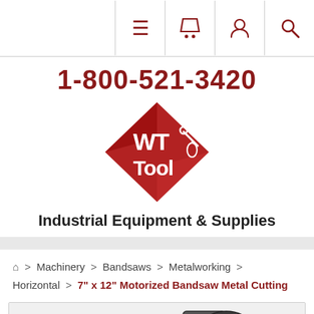Navigation bar with menu, cart, account, and search icons
1-800-521-3420
[Figure (logo): WT Tool diamond-shaped red logo with wrench and flask icons]
Industrial Equipment & Supplies
Home > Machinery > Bandsaws > Metalworking > Horizontal > 7" x 12" Motorized Bandsaw Metal Cutting
[Figure (photo): Partial photo of a 7" x 12" motorized bandsaw metal cutting machine, showing the machine body and blade guard area]